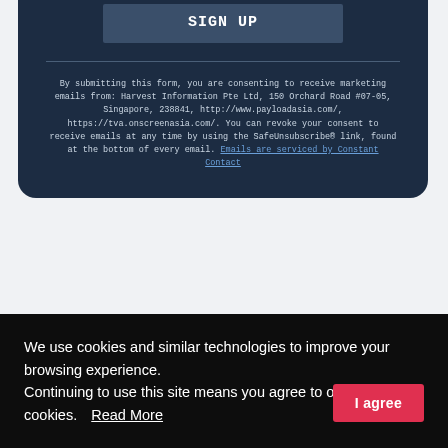SIGN UP
By submitting this form, you are consenting to receive marketing emails from: Harvest Information Pte Ltd, 150 Orchard Road #07-05, Singapore, 238841, http://www.payloadasia.com/, https://tva.onscreenasia.com/. You can revoke your consent to receive emails at any time by using the SafeUnsubscribe® link, found at the bottom of every email. Emails are serviced by Constant Contact
We use cookies and similar technologies to improve your browsing experience. Continuing to use this site means you agree to our use of cookies.   Read More
I agree